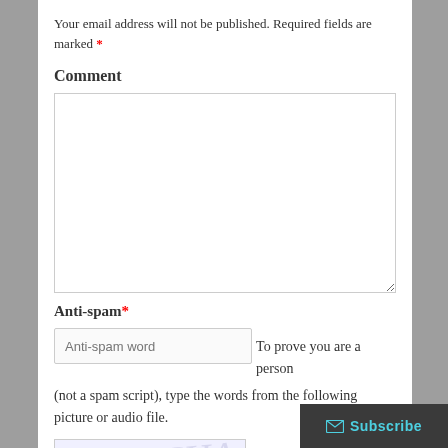Your email address will not be published. Required fields are marked *
Comment
Anti-spam*
Anti-spam word
To prove you are a person (not a spam script), type the words from the following picture or audio file.
[Figure (other): CAPTCHA image with distorted text and audio icon]
Subscribe